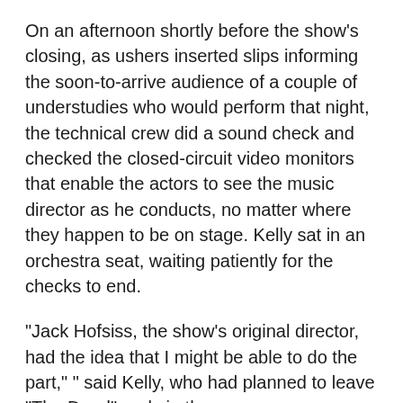On an afternoon shortly before the show's closing, as ushers inserted slips informing the soon-to-arrive audience of a couple of understudies who would perform that night, the technical crew did a sound check and checked the closed-circuit video monitors that enable the actors to see the music director as he conducts, no matter where they happen to be on stage. Kelly sat in an orchestra seat, waiting patiently for the checks to end.
"Jack Hofsiss, the show's original director, had the idea that I might be able to do the part," " said Kelly, who had planned to leave "The Dead" early in the summer.
The closest thing to a full-scale musical in which John Kelly had previously appeared was "Miracolo d'Amore," a notable director's theater...